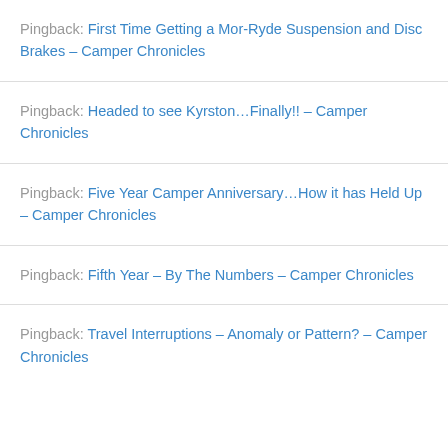Pingback: First Time Getting a Mor-Ryde Suspension and Disc Brakes – Camper Chronicles
Pingback: Headed to see Kyrston…Finally!! – Camper Chronicles
Pingback: Five Year Camper Anniversary…How it has Held Up – Camper Chronicles
Pingback: Fifth Year – By The Numbers – Camper Chronicles
Pingback: Travel Interruptions – Anomaly or Pattern? – Camper Chronicles